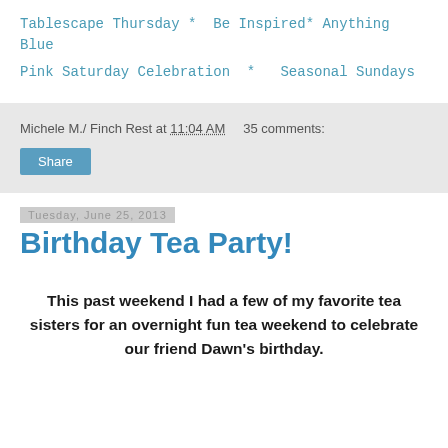Tablescape Thursday *  Be Inspired* Anything Blue
Pink Saturday Celebration  *  Seasonal Sundays
Michele M./ Finch Rest at 11:04 AM    35 comments:
Share
Tuesday, June 25, 2013
Birthday Tea Party!
This past weekend I had a few of my favorite tea sisters for an overnight fun tea weekend to celebrate our friend Dawn's birthday.